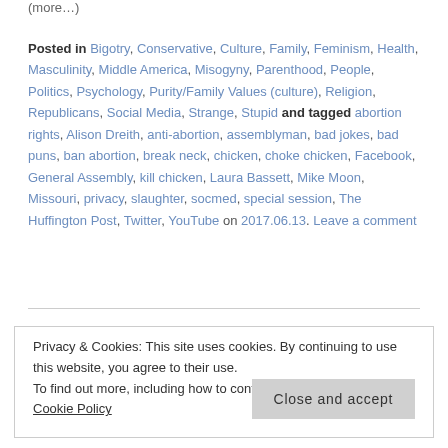(more…)
Posted in Bigotry, Conservative, Culture, Family, Feminism, Health, Masculinity, Middle America, Misogyny, Parenthood, People, Politics, Psychology, Purity/Family Values (culture), Religion, Republicans, Social Media, Strange, Stupid and tagged abortion rights, Alison Dreith, anti-abortion, assemblyman, bad jokes, bad puns, ban abortion, break neck, chicken, choke chicken, Facebook, General Assembly, kill chicken, Laura Bassett, Mike Moon, Missouri, privacy, slaughter, socmed, special session, The Huffington Post, Twitter, YouTube on 2017.06.13. Leave a comment
Privacy & Cookies: This site uses cookies. By continuing to use this website, you agree to their use.
To find out more, including how to control cookies, see here: Cookie Policy
Close and accept